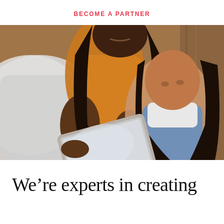BECOME A PARTNER
[Figure (photo): A woman and a young girl looking at a tablet together, lying on a bed. The woman wears a yellow top and the girl wears denim overalls. Both have long dark hair.]
We're experts in creating